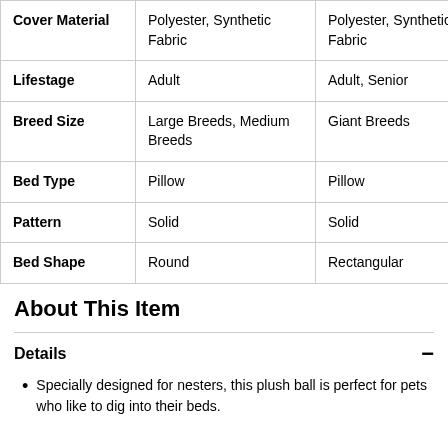|  | Column 1 | Column 2 | Column 3 |
| --- | --- | --- | --- |
| Cover Material | Polyester, Synthetic Fabric | Polyester, Synthetic Fabric | Po Sy |
| Lifestage | Adult | Adult, Senior | Ac |
| Breed Size | Large Breeds, Medium Breeds | Giant Breeds | Sm |
| Bed Type | Pillow | Pillow | Pil |
| Pattern | Solid | Solid | So |
| Bed Shape | Round | Rectangular | Ro |
About This Item
Details
Specially designed for nesters, this plush ball is perfect for pets who like to dig into their beds.